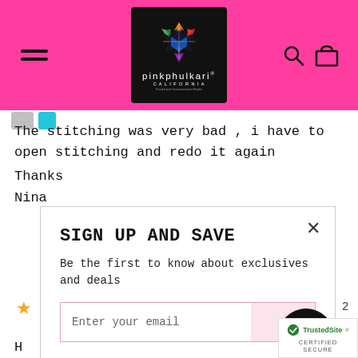[Figure (logo): PinkPhulkari California logo on black background with colorful geometric star design, shown in a pink header with hamburger menu on left and search/cart icons on right]
The stitching was very bad , i have to open stitching and redo it again
Thanks
Nina
[Figure (screenshot): Sign up and save popup modal with email input field and arrow button, overlaying the review page content. Shows 'SIGN UP AND SAVE' heading, 'Be the first to know about exclusives and deals' text, email input, and close X button.]
[Figure (logo): TrustedSite Certified Secure badge in bottom right corner]